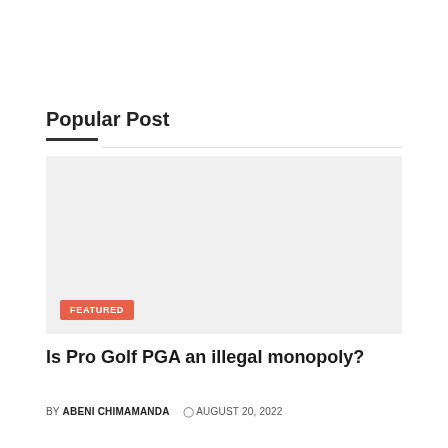Popular Post
[Figure (photo): Gray placeholder image block with a Featured badge in the lower left corner]
Is Pro Golf PGA an illegal monopoly?
BY ABENI CHIMAMANDA  © AUGUST 20, 2022